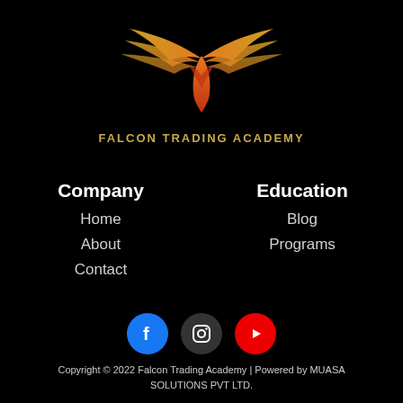[Figure (logo): Falcon Trading Academy logo: golden wings with orange/red falcon body, spread wings design]
FALCON TRADING ACADEMY
Company
Education
Home
About
Contact
Blog
Programs
[Figure (logo): Facebook, Instagram, and YouTube social media icons in circular buttons]
Copyright © 2022 Falcon Trading Academy | Powered by MUASA SOLUTIONS PVT LTD.